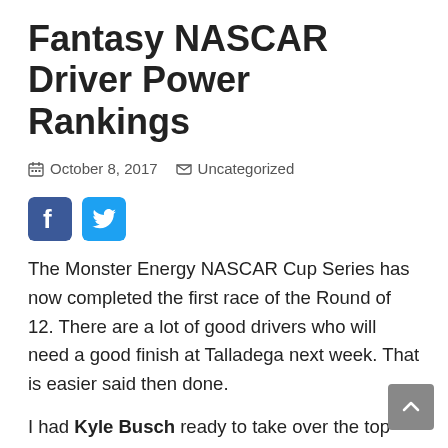Fantasy NASCAR Driver Power Rankings
October 8, 2017   Uncategorized
[Figure (other): Facebook and Twitter social share icon buttons]
The Monster Energy NASCAR Cup Series has now completed the first race of the Round of 12. There are a lot of good drivers who will need a good finish at Talladega next week. That is easier said then done.
I had Kyle Busch ready to take over the top spot in my power rankings and then he went out and laid an egg at Charlotte. Martin Truex Jr. is still the best choice in Fantasy NASCAR but Kevin Harvick and Chase Elliott are proving they belong at the top of